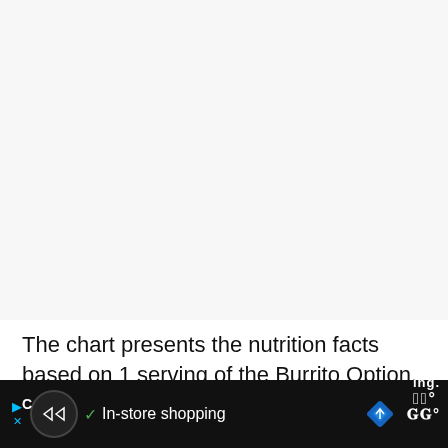[Figure (other): Large empty light gray area representing a chart or image area that is not fully visible (mostly blank/cropped)]
The chart presents the nutrition facts based on 1 serving of the Burrito Option.
|  |  |  |
| --- | --- | --- |
| C |  | ing. |